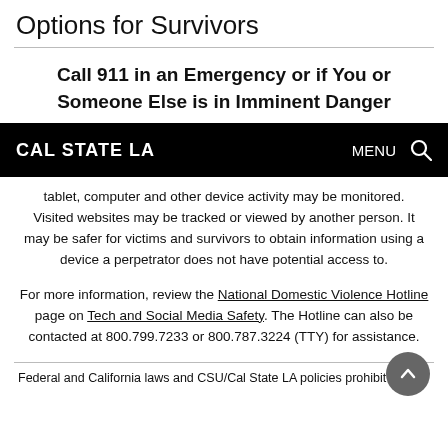Options for Survivors
Call 911 in an Emergency or if You or Someone Else is in Imminent Danger
[Figure (screenshot): Cal State LA navigation bar with logo and MENU/search icons on black background]
tablet, computer and other device activity may be monitored. Visited websites may be tracked or viewed by another person. It may be safer for victims and survivors to obtain information using a device a perpetrator does not have potential access to.
For more information, review the National Domestic Violence Hotline page on Tech and Social Media Safety. The Hotline can also be contacted at 800.799.7233 or 800.787.3224 (TTY) for assistance.
Federal and California laws and CSU/Cal State LA policies prohibit